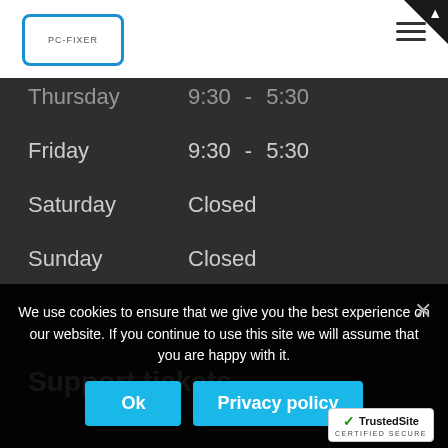[Figure (logo): PC-Fixer logo in a blue rounded rectangle border]
| Day | Open |  | Close |
| --- | --- | --- | --- |
| Thursday | 9:30 | - | 5:30 |
| Friday | 9:30 | - | 5:30 |
| Saturday | Closed |  |  |
| Sunday | Closed |  |  |
Support tickets
We use cookies to ensure that we give you the best experience on our website. If you continue to use this site we will assume that you are happy with it.
[Figure (logo): TrustedSite CERTIFIED SECURE badge]